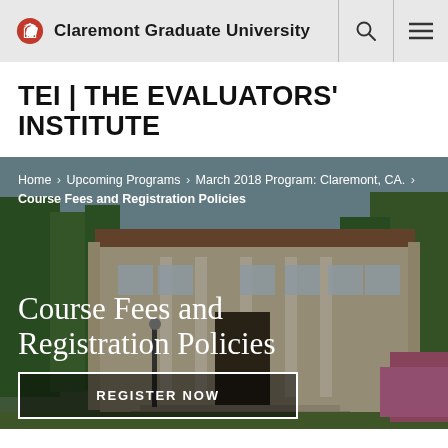Claremont Graduate University
TEI | THE EVALUATORS' INSTITUTE
[Figure (photo): Exterior photo of a Spanish Colonial Revival style university building with trees, steps, and flowering shrubs in the foreground]
Home › Upcoming Programs › March 2018 Program: Claremont, CA. › Course Fees and Registration Policies
Course Fees and Registration Policies
REGISTER NOW